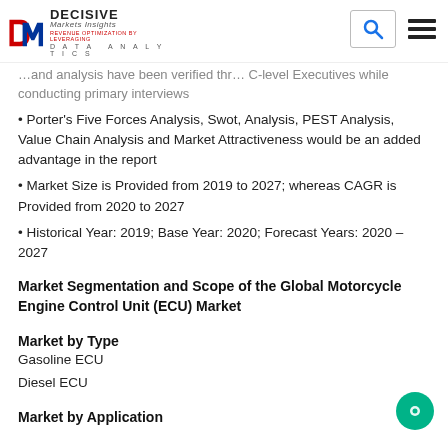Decisive Markets Insights — DATA ANALYTICS
…and analysis have been verified through C-level Executives while conducting primary interviews
• Porter's Five Forces Analysis, Swot, Analysis, PEST Analysis, Value Chain Analysis and Market Attractiveness would be an added advantage in the report
• Market Size is Provided from 2019 to 2027; whereas CAGR is Provided from 2020 to 2027
• Historical Year: 2019; Base Year: 2020; Forecast Years: 2020 – 2027
Market Segmentation and Scope of the Global Motorcycle Engine Control Unit (ECU) Market
Market by Type
Gasoline ECU
Diesel ECU
Market by Application